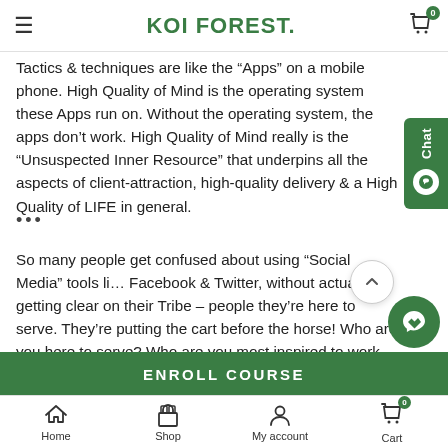KOI FOREST.
Tactics & techniques are like the "Apps" on a mobile phone. High Quality of Mind is the operating system these Apps run on. Without the operating system, the apps don't work. High Quality of Mind really is the "Unsuspected Inner Resource" that underpins all the aspects of client-attraction, high-quality delivery & a High Quality of LIFE in general.
So many people get confused about using "Social Media" tools like Facebook & Twitter, without actually getting clear on their Tribe – people they're here to serve. They're putting the cart before the horse! Who are you here to serve? Who are you most inspired to work with? Who are you best placed to support? You may have tried to answer these questions in the past, but the difference is now you're going to be exploring from a High Quality of Mind...
ENROLL COURSE
Home  Shop  My account  Cart